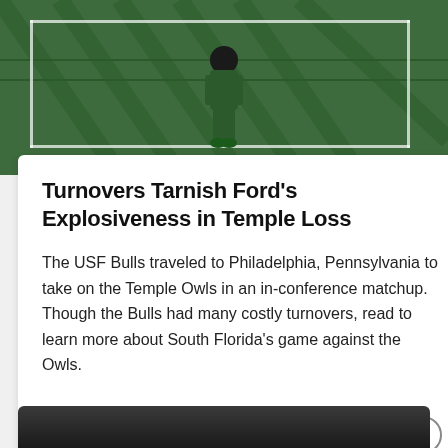[Figure (photo): Football player in green uniform on a green field with end zone markings]
Turnovers Tarnish Ford's Explosiveness in Temple Loss
The USF Bulls traveled to Philadelphia, Pennsylvania to take on the Temple Owls in an in-conference matchup. Though the Bulls had many costly turnovers, read to learn more about South Florida's game against the Owls.
— by JOSH KATZ
October 20, 2020
[Figure (photo): Partial view of a night football game crowd scene at the bottom of the page]